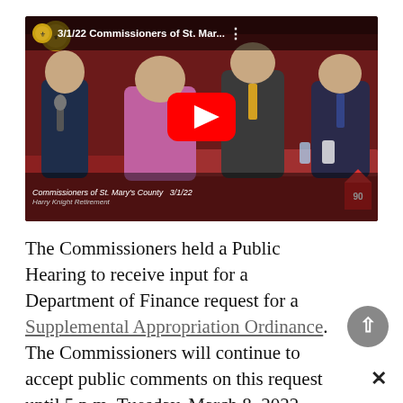[Figure (screenshot): YouTube video thumbnail showing a meeting of the Commissioners of St. Mary's County dated 3/1/22, titled 'Harry Knight Retirement'. Several people in suits are standing at a podium. A red YouTube play button is overlaid in the center.]
The Commissioners held a Public Hearing to receive input for a Department of Finance request for a Supplemental Appropriation Ordinance. The Commissioners will continue to accept public comments on this request until 5 p.m. Tuesday, March 8, 2022.